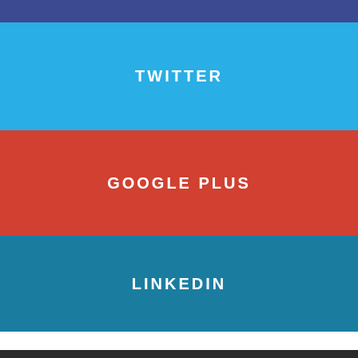[Figure (infographic): Dark blue horizontal bar at top of page]
TWITTER
GOOGLE PLUS
LINKEDIN
© ROYAL MUSIC SOCIETY 2017. DESIGNED, DEVELOPED AND POWERED BY VONHOSTING